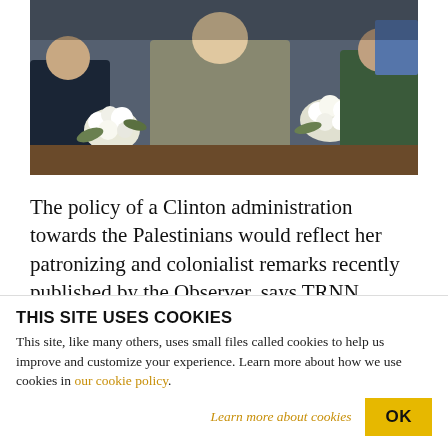[Figure (photo): Group of people seated at a table with white floral arrangements, partially cropped at top.]
The policy of a Clinton administration towards the Palestinians would reflect her patronizing and colonialist remarks recently published by the Observer, says TRNN correspondent Shir Hever
THIS SITE USES COOKIES
This site, like many others, uses small files called cookies to help us improve and customize your experience. Learn more about how we use cookies in our cookie policy.
Learn more about cookies
OK